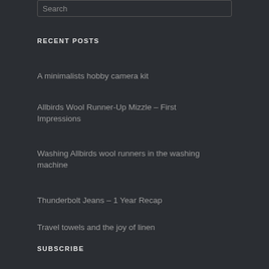Search
RECENT POSTS
A minimalists hobby camera kit
Allbirds Wool Runner-Up Mizzle – First Impressions
Washing Allbirds wool runners in the washing machine
Thunderbolt Jeans – 1 Year Recap
Travel towels and the joy of linen
SUBSCRIBE